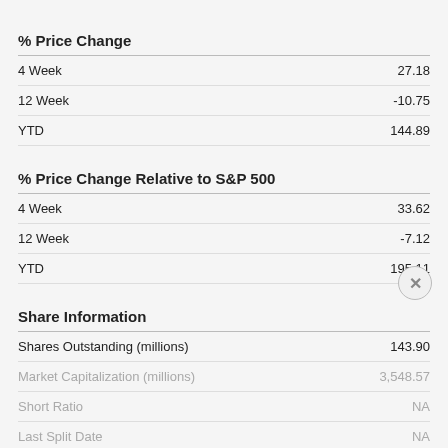% Price Change
|  |  |
| --- | --- |
| 4 Week | 27.18 |
| 12 Week | -10.75 |
| YTD | 144.89 |
% Price Change Relative to S&P 500
|  |  |
| --- | --- |
| 4 Week | 33.62 |
| 12 Week | -7.12 |
| YTD | 195.11 |
Share Information
|  |  |
| --- | --- |
| Shares Outstanding (millions) | 143.90 |
| Market Capitalization (millions) | 3,548.57 |
| Short Ratio | NA |
| Last Split Date | NA |